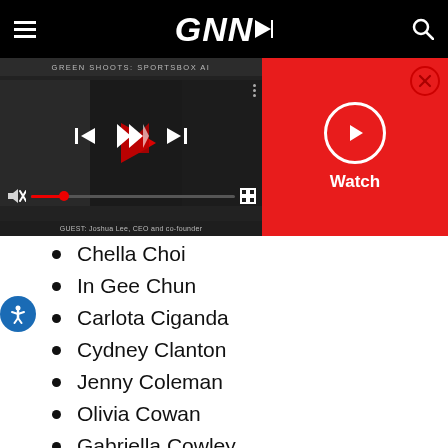GNN
[Figure (screenshot): Video player showing GREEN SHOOTS: SPORTSBOX AI with playback controls, progress bar, mute icon, and guest bar showing GUEST: Joshua Lee, CEO and co-founder]
[Figure (screenshot): Red Watch button panel with close X button and circular play icon labeled Watch]
Chella Choi
In Gee Chun
Carlota Ciganda
Cydney Clanton
Jenny Coleman
Olivia Cowan
Gabriella Cowley
Laura Davies